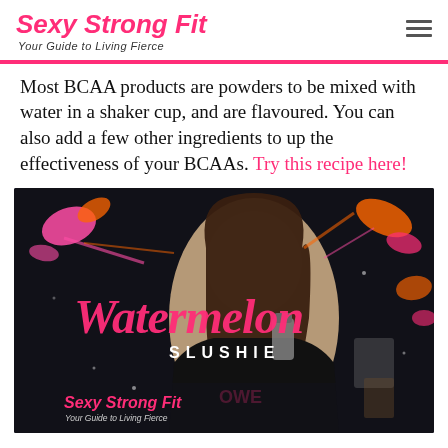Sexy Strong Fit — Your Guide to Living Fierce
Most BCAA products are powders to be mixed with water in a shaker cup, and are flavoured.  You can also add a few other ingredients to up the effectiveness of your BCAAs.  Try this recipe here!
[Figure (photo): Promotional photo for 'Watermelon Slushie' recipe by Sexy Strong Fit. A woman smiling and holding a shaker cup in a kitchen setting. Text overlays show 'Watermelon SLUSHIE' in pink script with paint splatter graphics and the Sexy Strong Fit logo at the bottom.]